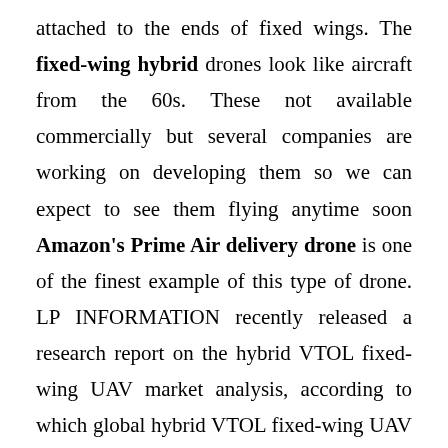attached to the ends of fixed wings. The fixed-wing hybrid drones look like aircraft from the 60s. These not available commercially but several companies are working on developing them so we can expect to see them flying anytime soon Amazon's Prime Air delivery drone is one of the finest example of this type of drone. LP INFORMATION recently released a research report on the hybrid VTOL fixed-wing UAV market analysis, according to which global hybrid VTOL fixed-wing UAV market expected to witness sustainable growth over 2025. Hitec, Ukrspecsystems, Vertical Technologies, DG Intelligent, Threod Systems, Jd.Com Inc, Lockheed, and Martin Corporation are some of the companies